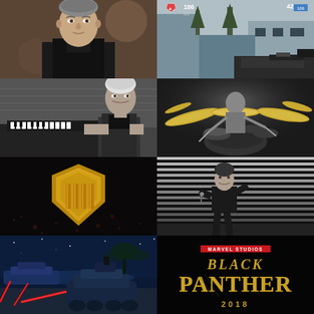[Figure (photo): Portrait photo of a man in a dark suit jacket, looking slightly to the side, bokeh background with crowd]
[Figure (screenshot): First-person shooter video game screenshot with gun visible, snowy/urban environment, HUD elements showing 186 score and 42]
[Figure (photo): Black and white photo of a young man at a piano or keyboard, stadium seating visible in background]
[Figure (photo): Black and white photo of a drummer performing on stage with cymbals visible]
[Figure (illustration): Call of Duty Black Ops 4 logo — gold shield-like emblem with Roman numeral IIII on dark black background with subtle orange texture]
[Figure (photo): Black and white photo of a male performer on stage with horizontal light streaks backdrop, singing into microphone]
[Figure (illustration): Sci-fi scene with futuristic armored vehicles or robots with red laser beams on a beach at night, blue atmospheric lighting]
[Figure (illustration): Marvel Studios Black Panther 2018 movie title card/poster on black background with golden metallic lettering]